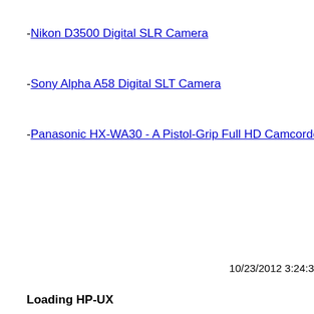- Nikon D3500 Digital SLR Camera
- Sony Alpha A58 Digital SLT Camera
- Panasonic HX-WA30 - A Pistol-Grip Full HD Camcorder
10/23/2012 3:24:30
Loading HP-UX